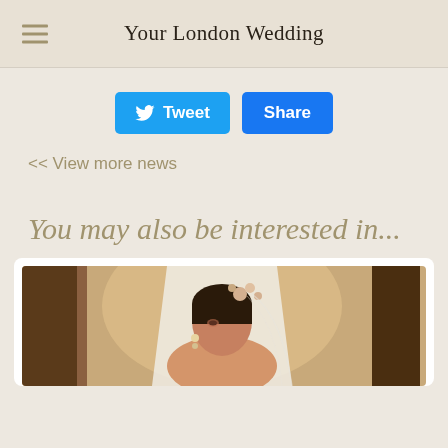Your London Wedding
[Figure (screenshot): Tweet and Share social media buttons]
<< View more news
You may also be interested in...
[Figure (photo): Bride wearing a veil and floral headpiece, looking to the side in a warmly lit room]